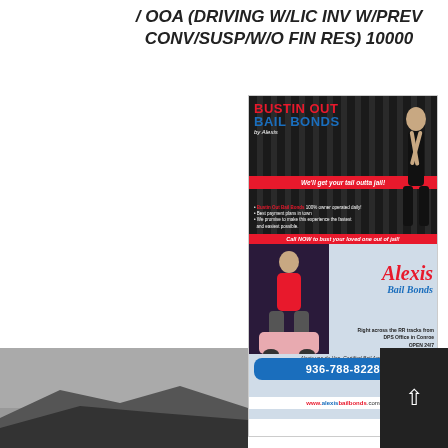/ OOA (DRIVING W/LIC INV W/PREV CONV/SUSP/W/O FIN RES) 10000
[Figure (illustration): Advertisement for 'Bustin Out Bail Bonds by Alexis' showing bail bond company ad with red and blue text, a woman in black dress, tagline 'We'll get your tail outta jail!', bullet points, call now banner, phone number 936-788-8228, and website alexisbailbonds.com. Lower portion shows 'Alexis Bail Bonds' with woman in pink shirt, a police-style pink car, and contact info for DPS Office in Conroe, OPEN 24/7.]
[Figure (photo): Partial photo showing a dark landscape/hillside scene, partially cut off at bottom of page. Dark navigation arrow button visible on right side.]